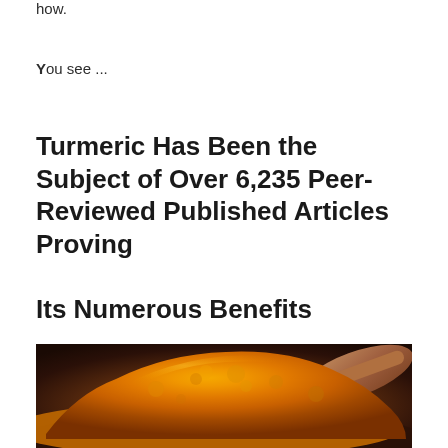how.
You see ...
Turmeric Has Been the Subject of Over 6,235 Peer-Reviewed Published Articles Proving
Its Numerous Benefits
[Figure (photo): Close-up photo of a heap of bright orange-yellow turmeric powder in a wooden bowl, with spices blurred in the background.]